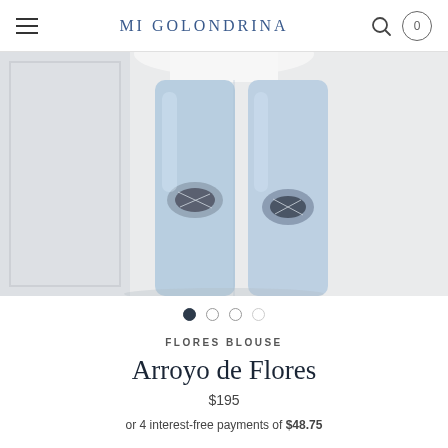MI GOLONDRINA
[Figure (photo): Close-up photo of a person's legs wearing light blue ripped/distressed jeans with knee tears, paired with a white top, standing against a white paneled wall background.]
FLORES BLOUSE
Arroyo de Flores
$195
or 4 interest-free payments of $48.75